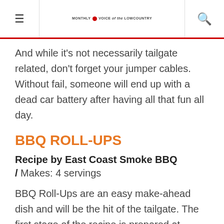≡ MONTHLY VOICE of the LOWCOUNTRY 🔍
And while it's not necessarily tailgate related, don't forget your jumper cables. Without fail, someone will end up with a dead car battery after having all that fun all day.
BBQ ROLL-UPS
Recipe by East Coast Smoke BBQ
/ Makes: 4 servings
BBQ Roll-Ups are an easy make-ahead dish and will be the hit of the tailgate. The first stage of the recipe is prepared at home, then it's finished off on the grill at the tailgate party.